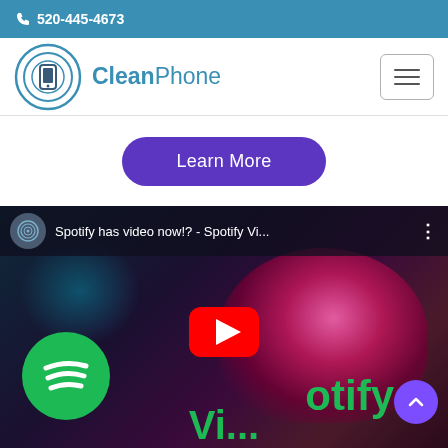📞 520-445-4673
[Figure (logo): CleanPhone logo with circular phone icon and text]
Learn More
[Figure (screenshot): YouTube video thumbnail showing Spotify has video now!? - Spotify Vi... with Spotify logo, YouTube play button, person wearing headphones, green Spotify text]